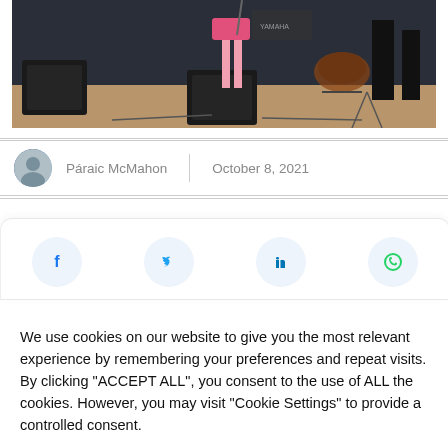[Figure (photo): A concert/stage photo showing a performer in a pink skirt, with drum kit and musical equipment visible in the background on a stage.]
Páraic McMahon | October 8, 2021
[Figure (infographic): Social media share icons: Facebook, Twitter, LinkedIn, WhatsApp]
We use cookies on our website to give you the most relevant experience by remembering your preferences and repeat visits. By clicking "ACCEPT ALL", you consent to the use of ALL the cookies. However, you may visit "Cookie Settings" to provide a controlled consent.
Cookie Settings   REJECT ALL   ACCEPT ALL